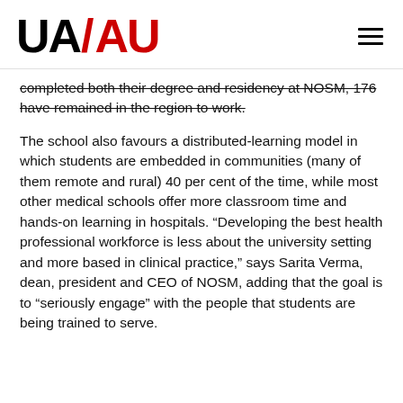UA/AU
completed both their degree and residency at NOSM, 176 have remained in the region to work.
The school also favours a distributed-learning model in which students are embedded in communities (many of them remote and rural) 40 per cent of the time, while most other medical schools offer more classroom time and hands-on learning in hospitals. “Developing the best health professional workforce is less about the university setting and more based in clinical practice,” says Sarita Verma, dean, president and CEO of NOSM, adding that the goal is to “seriously engage” with the people that students are being trained to serve.